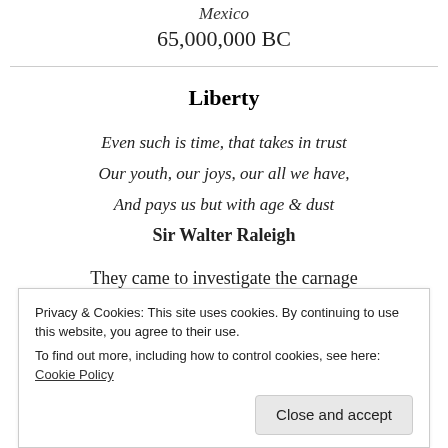Mexico
65,000,000 BC
Liberty
Even such is time, that takes in trust
Our youth, our joys, our all we have,
And pays us but with age & dust
Sir Walter Raleigh
They came to investigate the carnage
Churn'd by those vast, ruthless, triassic seas,
Neath shaking heads they burnt the starry bridge
Privacy & Cookies: This site uses cookies. By continuing to use this website, you agree to their use.
To find out more, including how to control cookies, see here: Cookie Policy